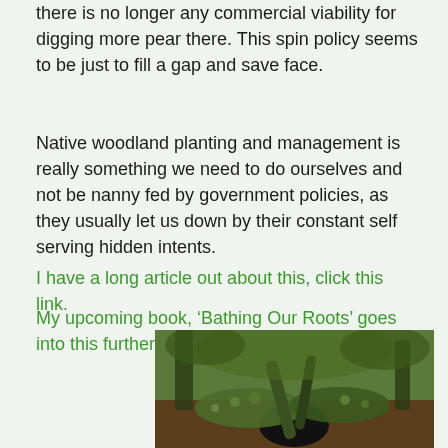there is no longer any commercial viability for digging more pear there. This spin policy seems to be just to fill a gap and save face.
Native woodland planting and management is really something we need to do ourselves and not be nanny fed by government policies, as they usually let us down by their constant self serving hidden intents.
I have a long article out about this, click this link.
My upcoming book, ‘Bathing Our Roots’ goes into this further.
[Figure (photo): Photograph of moss-covered fallen tree trunks and branches in a woodland setting with green vegetation in the background]